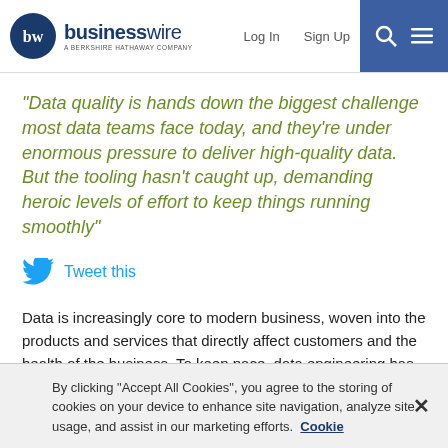businesswire — A BERKSHIRE HATHAWAY COMPANY | Log In | Sign Up
“Data quality is hands down the biggest challenge most data teams face today, and they’re under enormous pressure to deliver high-quality data. But the tooling hasn’t caught up, demanding heroic levels of effort to keep things running smoothly”
Tweet this
Data is increasingly core to modern business, woven into the products and services that directly affect customers and the health of the business. To keep pace, data engineering has increased in scale, complexity, and automation. As a result, human fail-safes no longer exist and operational issues like delayed, missing, duplicated, or damaged data cannot be detected manually.
By clicking “Accept All Cookies”, you agree to the storing of cookies on your device to enhance site navigation, analyze site usage, and assist in our marketing efforts.   Cookie